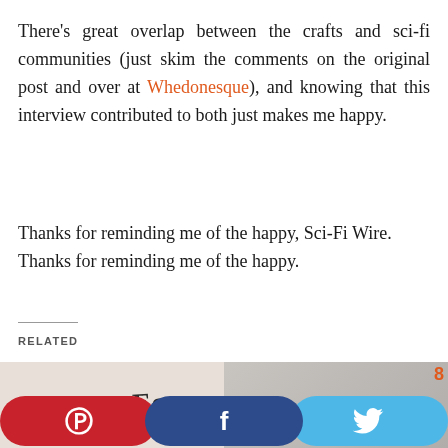There's great overlap between the crafts and sci-fi communities (just skim the comments on the original post and over at Whedonesque), and knowing that this interview contributed to both just makes me happy.
Thanks for reminding me of the happy, Sci-Fi Wire. Thanks for reminding me of the happy.
RELATED
[Figure (photo): Image with text reading 'Home Ec.' in stylized font on a patterned background]
[Figure (photo): Photo of a person wearing glasses, with an orange badge showing the number 8]
[Figure (infographic): Three social sharing buttons: Pinterest (red/dark red), Facebook (dark blue), Twitter (light blue), each with their respective icons]